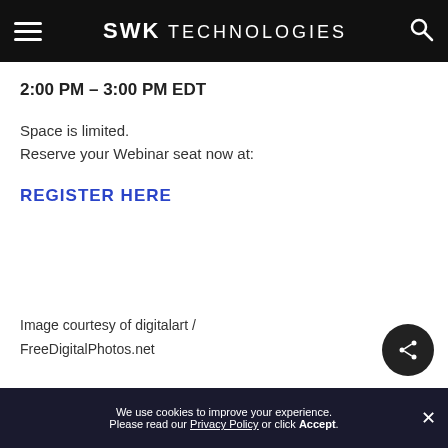SWK TECHNOLOGIES
2:00 PM – 3:00 PM EDT
Space is limited.
Reserve your Webinar seat now at:
REGISTER HERE
Image courtesy of digitalart / FreeDigitalPhotos.net
We use cookies to improve your experience. Please read our Privacy Policy or click Accept.